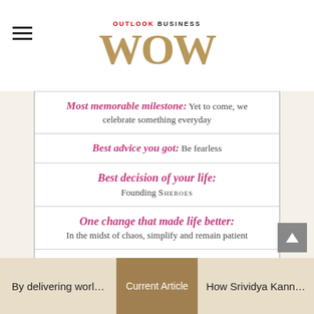OUTLOOK BUSINESS WOW
Most memorable milestone: Yet to come, we celebrate something everyday
Best advice you got: Be fearless
Best decision of your life: Founding SHEROES
One change that made life better: In the midst of chaos, simplify and remain patient
Mentors: My friend Raju, who is also a work partner, and Vijay Shekhar of Paytm
Support system: My husband, daughter and caretaker, and of course my
By delivering worl... | Current Article | How Srividya Kann...